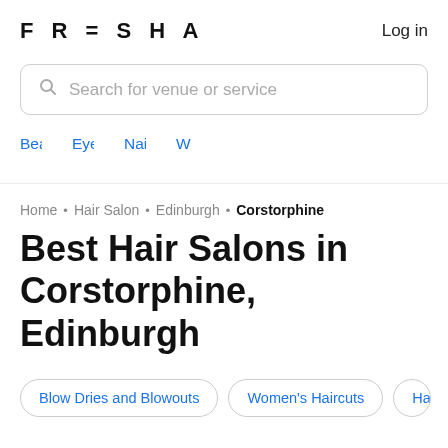FRESHA  Log in
Search for venue or service
Beauty Salons
Eyebrows & Lashes
Nail Salons
Home · Hair Salon · Edinburgh · Corstorphine
Best Hair Salons in Corstorphine, Edinburgh
Blow Dries and Blowouts
Women's Haircuts
Hair
Top Hair Salons - Corstorphine,